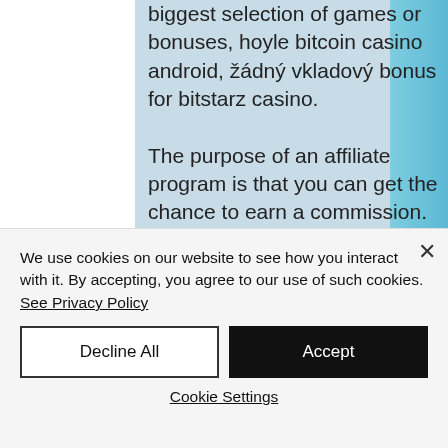biggest selection of games or bonuses, hoyle bitcoin casino android, žádný vkladový bonus for bitstarz casino. The purpose of an affiliate program is that you can get the chance to earn a commission. BTCClicks is on this list because of its legitimacy. It is one of the highest reputed and most popular Bitcoin Faucets available on the market, which offer users to earn rewards by simply just clicking on some random ads in the form of videos or other basic tasks, bitstarz casino sign up bonus. The platform is offering its users to
We use cookies on our website to see how you interact with it. By accepting, you agree to our use of such cookies. See Privacy Policy
Decline All
Accept
Cookie Settings